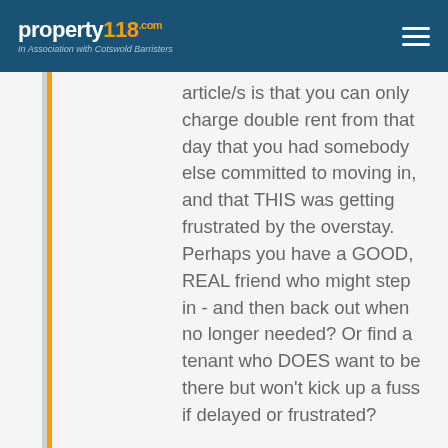property118.com — In Association with Cotswold Barristers
article/s is that you can only charge double rent from that day that you had somebody else committed to moving in, and that THIS was getting frustrated by the overstay. Perhaps you have a GOOD, REAL friend who might step in - and then back out when no longer needed? Or find a tenant who DOES want to be there but won't kick up a fuss if delayed or frustrated?
Of course, if your so-called friend is broke, then charging him double or even tenfold rent won't make any difference, will have no impact, and…